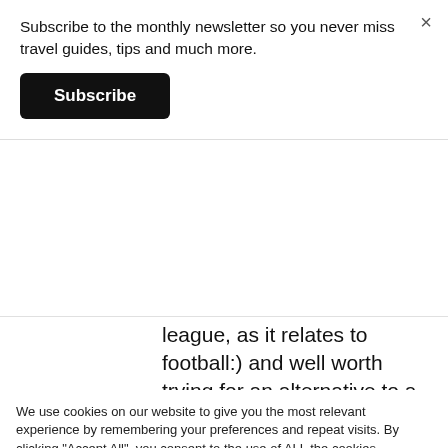Subscribe to the monthly newsletter so you never miss travel guides, tips and much more.
Subscribe
league, as it relates to football:) and well worth trying for an alternative to a Sunday lunch at a pub or carvery
We use cookies on our website to give you the most relevant experience by remembering your preferences and repeat visits. By clicking "Accept All", you consent to the use of ALL the cookies. However, you may visit "Cookie Settings" to provide a controlled consent.
Cookie Settings
Accept All